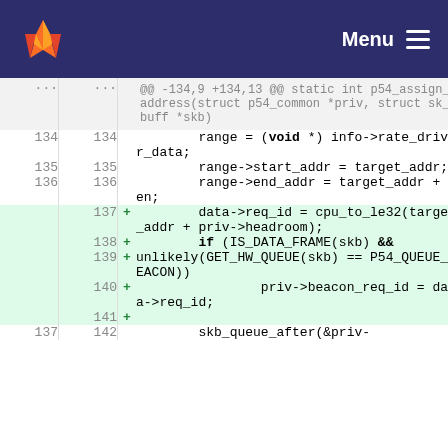Menu
[Figure (screenshot): GitLab code diff view showing lines 134-142 of a C source file with added lines 137-141 highlighted in green. The diff shows changes to p54_assign_address function including addition of data->req_id, IS_DATA_FRAME check, and priv->beacon_req_id assignments.]